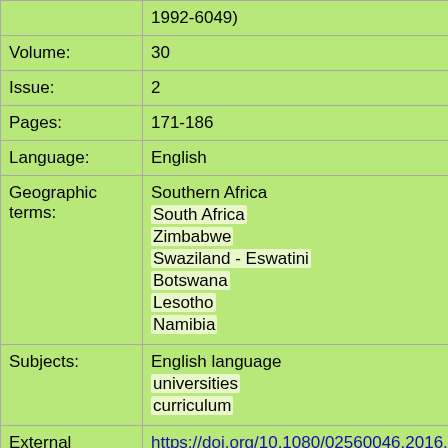| Field | Value |
| --- | --- |
|  | 1992-6049) |
| Volume: | 30 |
| Issue: | 2 |
| Pages: | 171-186 |
| Language: | English |
| Geographic terms: | Southern Africa
South Africa
Zimbabwe
Swaziland - Eswatini
Botswana
Lesotho
Namibia |
| Subjects: | English language
universities
curriculum |
| External | https://doi.org/10.1080/02560046.2016.1187700 |